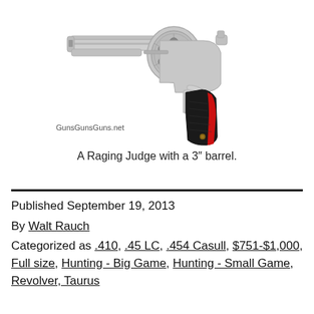[Figure (photo): A Taurus Raging Judge revolver with stainless steel finish and black/red grip, shown in profile with a 3-inch barrel]
A Raging Judge with a 3″ barrel.
Published September 19, 2013
By Walt Rauch
Categorized as .410, .45 LC, .454 Casull, $751-$1,000, Full size, Hunting - Big Game, Hunting - Small Game, Revolver, Taurus